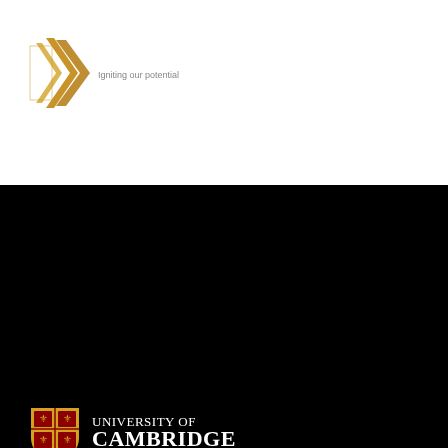[Figure (logo): UK Clinical Research Foundation logo with chevron arrows and text 'Igniting our potential']
[Figure (logo): University of Cambridge shield crest with text UNIVERSITY OF CAMBRIDGE]
© 2019 University of Cambridge
University A-Z
Contact the University
Accessibility
Freedom of information
Terms and conditions
Study at Cambridge
Undergraduate
Graduate